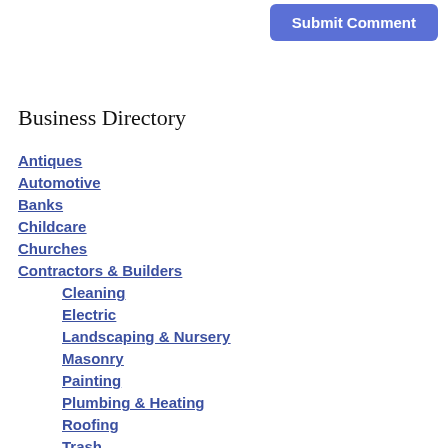Submit Comment
Business Directory
Antiques
Automotive
Banks
Childcare
Churches
Contractors & Builders
Cleaning
Electric
Landscaping & Nursery
Masonry
Painting
Plumbing & Heating
Roofing
Trash
Tree Service
Dentists
Doctors